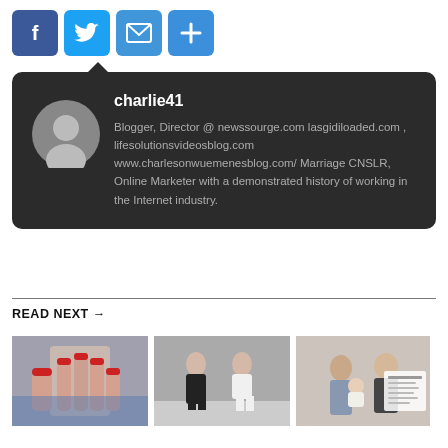[Figure (other): Social sharing buttons: Facebook (blue), Twitter (blue bird), Email (envelope), Share (plus sign)]
charlie41
Blogger, Director @ newssourge.com lasgidiloaded.com , lifesolutionsvideosblog.com www.charlesonwuemenesblog.com/ Marriage CNSLR, Online Marketer with a demonstrated history of working in the Internet industry.
READ NEXT →
[Figure (photo): Three thumbnail photos shown side by side: a person covering their face with red-nailed hands, two women in black and white outfits, and a couple with a baby (Meghan Markle and Prince Harry).]